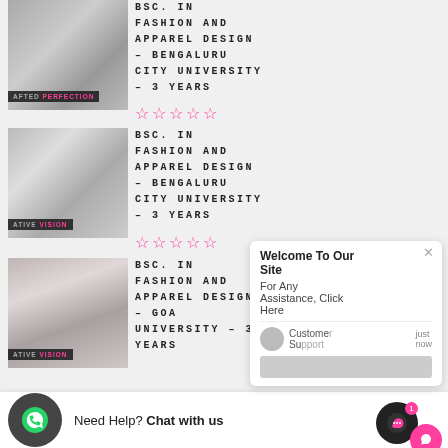[Figure (photo): Grayscale photo of person looking at phone, with overlay text 'AFTED PERFECTION']
BSC. IN FASHION AND APPAREL DESIGN – BENGALURU CITY UNIVERSITY – 3 YEARS
★★★★★ (5 empty stars rating)
[Figure (photo): Grayscale photo of woman near clothing rack, with overlay text 'ATIVE VISION']
BSC. IN FASHION AND APPAREL DESIGN – GOA UNIVERSITY – 3 YEARS
★★★★★ (5 empty stars rating)
Need Help? Chat with us
Welcome To Our Site
For Any Assistance, Click Here
Customer Support - just now